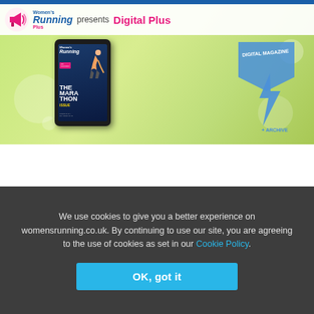[Figure (illustration): Women's Running presents Digital Plus promotional banner with magazine cover on tablet and lightning bolt graphic on green bokeh background]
[Figure (photo): Grey running shoe photographed on white background]
We use cookies to give you a better experience on womensrunning.co.uk. By continuing to use our site, you are agreeing to the use of cookies as set in our Cookie Policy.
OK, got it